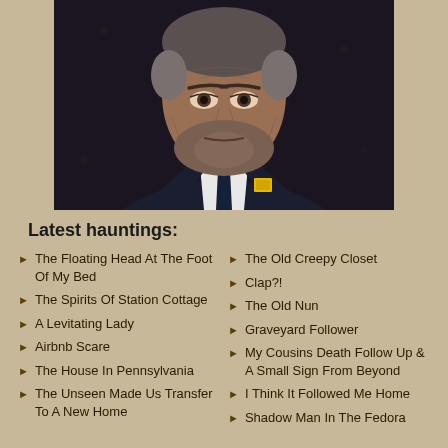[Figure (photo): Portrait of a man in a dark suit and tie with a yellow pin badge, serious expression, against a dark background]
Latest hauntings:
The Floating Head At The Foot Of My Bed
The Old Creepy Closet
The Spirits Of Station Cottage
Clap?!
A Levitating Lady
The Old Nun
Airbnb Scare
Graveyard Follower
The House In Pennsylvania
My Cousins Death Follow Up & A Small Sign From Beyond
The Unseen Made Us Transfer To A New Home
I Think It Followed Me Home
Shadow Man In The Fedora